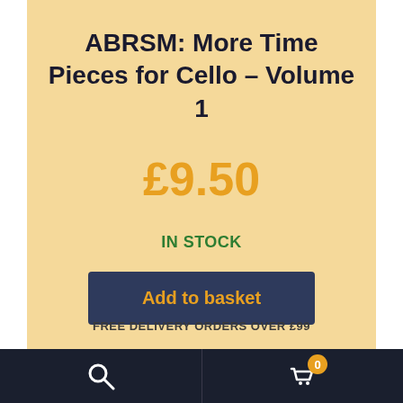ABRSM: More Time Pieces for Cello – Volume 1
£9.50
IN STOCK
Add to basket
FREE DELIVERY ORDERS OVER £99
Search | Basket 0